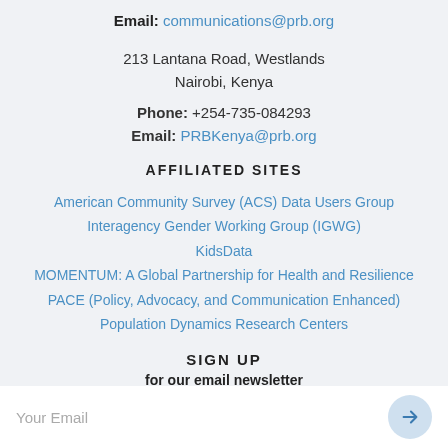Email: communications@prb.org
213 Lantana Road, Westlands
Nairobi, Kenya
Phone: +254-735-084293
Email: PRBKenya@prb.org
AFFILIATED SITES
American Community Survey (ACS) Data Users Group
Interagency Gender Working Group (IGWG)
KidsData
MOMENTUM: A Global Partnership for Health and Resilience
PACE (Policy, Advocacy, and Communication Enhanced)
Population Dynamics Research Centers
SIGN UP
for our email newsletter
Your Email